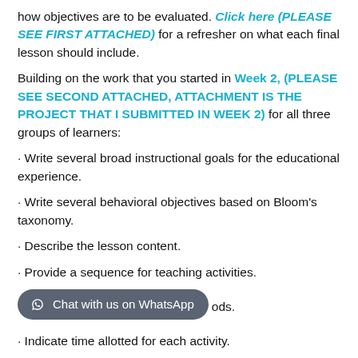how objectives are to be evaluated. Click here (PLEASE SEE FIRST ATTACHED) for a refresher on what each final lesson should include.
Building on the work that you started in Week 2, (PLEASE SEE SECOND ATTACHED, ATTACHMENT IS THE PROJECT THAT I SUBMITTED IN WEEK 2) for all three groups of learners:
· Write several broad instructional goals for the educational experience.
· Write several behavioral objectives based on Bloom's taxonomy.
· Describe the lesson content.
· Provide a sequence for teaching activities.
· [Chat with us on WhatsApp] ods.
· Indicate time allotted for each activity.